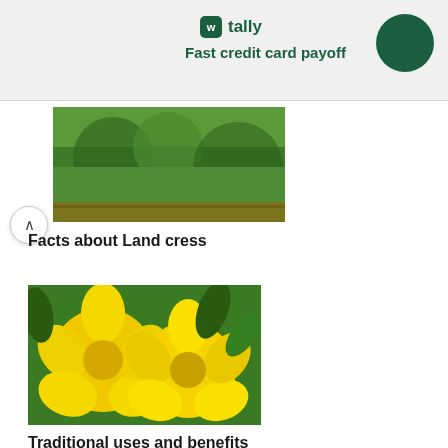[Figure (logo): Tally app logo and tagline 'Fast credit card payoff' with dark green circle button on light grey ad banner]
[Figure (photo): Partial image of Land cress plant with green leaves visible at top of card]
Facts about Land cress
[Figure (photo): Yellow tropical flowers (Golden Trumpet / Allamanda) with green leaves in background]
Traditional uses and benefits of Golden Trumpet